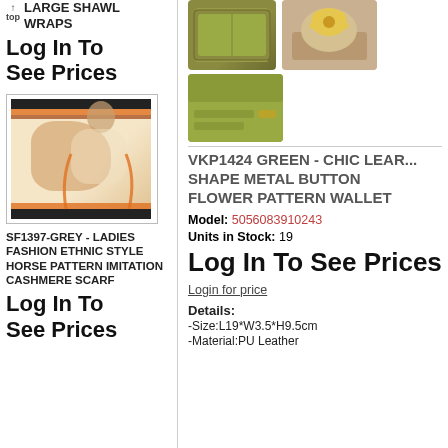LARGE SHAWL WRAPS
Log In To See Prices
[Figure (photo): Product photo of a ladies fashion ethnic style horse pattern imitation cashmere scarf, shown draped around a person]
SF1397-GREY - LADIES FASHION ETHNIC STYLE HORSE PATTERN IMITATION CASHMERE SCARF
Log In To See Prices
[Figure (photo): Product photos of a green chic leather shape metal button flower pattern wallet, shown from multiple angles]
VKP1424 GREEN - CHIC LEATHER SHAPE METAL BUTTON FLOWER PATTERN WALLET
Model: 5056083910243
Units in Stock: 19
Log In To See Prices
Login for price
Details:
-Size:L19*W3.5*H9.5cm
-Material:PU Leather